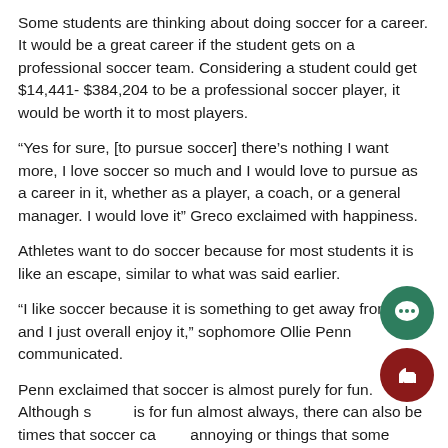Some students are thinking about doing soccer for a career. It would be a great career if the student gets on a professional soccer team. Considering a student could get $14,441- $384,204 to be a professional soccer player, it would be worth it to most players.
“Yes for sure, [to pursue soccer] there’s nothing I want more, I love soccer so much and I would love to pursue as a career in it, whether as a player, a coach, or a general manager. I would love it” Greco exclaimed with happiness.
Athletes want to do soccer because for most students it is like an escape, similar to what was said earlier.
“I like soccer because it is something to get away from life and I just overall enjoy it,” sophomore Ollie Penn communicated.
Penn exclaimed that soccer is almost purely for fun. Although soccer is for fun almost always, there can also be times that soccer can be annoying or things that some athletes do not like.
“It’s really fun, but despite the parts that are not fun, it’s worth it,” Penn added.
[Figure (illustration): Green circle icon with speech bubble / chat symbol]